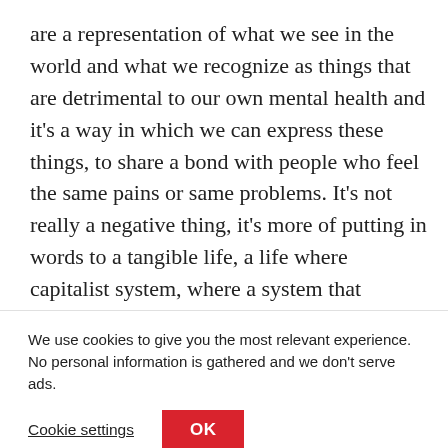are a representation of what we see in the world and what we recognize as things that are detrimental to our own mental health and it's a way in which we can express these things, to share a bond with people who feel the same pains or same problems. It's not really a negative thing, it's more of putting in words to a tangible life, a life where capitalist system, where a system that emphasizes on material goods over humanity, is really the problem. And to us the lyrics are just a
We use cookies to give you the most relevant experience. No personal information is gathered and we don't serve ads.
Cookie settings
OK